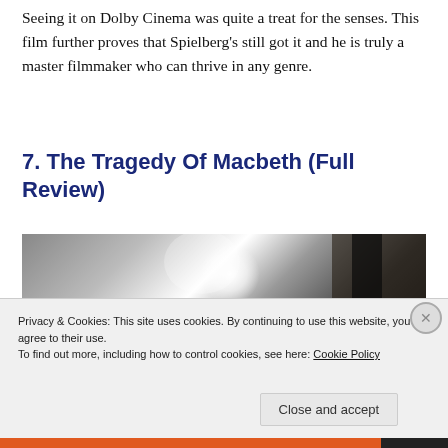Seeing it on Dolby Cinema was quite a treat for the senses. This film further proves that Spielberg's still got it and he is truly a master filmmaker who can thrive in any genre.
7. The Tragedy Of Macbeth (Full Review)
[Figure (photo): Black and white film still showing a figure silhouetted against a bright light source, with dark architectural elements in the background.]
Privacy & Cookies: This site uses cookies. By continuing to use this website, you agree to their use.
To find out more, including how to control cookies, see here: Cookie Policy
Close and accept